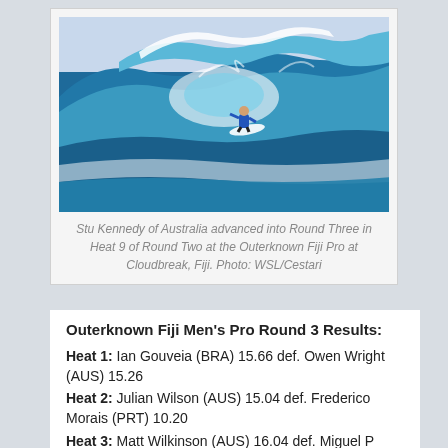[Figure (photo): Surfer riding inside a large barrel wave at Cloudbreak, Fiji. The wave is massive blue-green with white foam. The surfer is wearing a blue jersey.]
Stu Kennedy of Australia advanced into Round Three in Heat 9 of Round Two at the Outerknown Fiji Pro at Cloudbreak, Fiji. Photo: WSL/Cestari
Outerknown Fiji Men's Pro Round 3 Results:
Heat 1: Ian Gouveia (BRA) 15.66 def. Owen Wright (AUS) 15.26
Heat 2: Julian Wilson (AUS) 15.04 def. Frederico Morais (PRT) 10.20
Heat 3: Matt Wilkinson (AUS) 16.04 def. Miguel P...